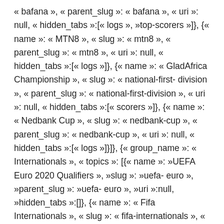« bafana », « parent_slug »: « bafana », « uri »: null, « hidden_tabs »:[« logs », »top-scorers »]}, {« name »: « MTN8 », « slug »: « mtn8 », « parent_slug »: « mtn8 », « uri »: null, « hidden_tabs »:[« logs »]}, {« name »: « GladAfrica Championship », « slug »: « national-first-division », « parent_slug »: « national-first-division », « uri »: null, « hidden_tabs »:[« scorers »]}, {« name »: « Nedbank Cup », « slug »: « nedbank-cup », « parent_slug »: « nedbank-cup », « uri »: null, « hidden_tabs »:[« logs »]}]}, {« group_name »: « Internationals », « topics »: [{« name »: »UEFA Euro 2020 Qualifiers », »slug »: »uefa-euro », »parent_slug »: »uefa-euro », »uri »:null, »hidden_tabs »:[]}, {« name »: « Fifa Internationals », « slug »: « fifa-internationals », « parent_slug »: « fifa-internationals », « uri »: null, « hidden_tabs »:[« logs », »video », » top-scorers »]}, {« name »: « UEFA Nations League », « slug »: « uefa-Nations-league », « parent_slug »: « uefa-Nations-league »,